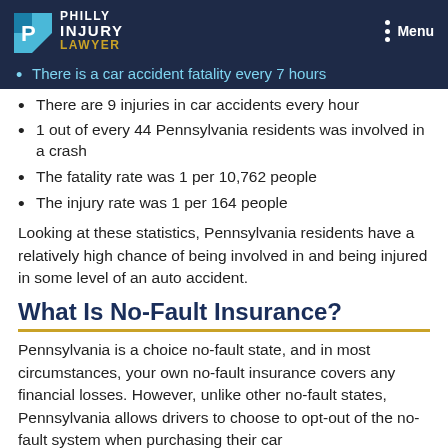Philly Injury Lawyer — Menu
There is a car accident fatality every 7 hours
There are 9 injuries in car accidents every hour
1 out of every 44 Pennsylvania residents was involved in a crash
The fatality rate was 1 per 10,762 people
The injury rate was 1 per 164 people
Looking at these statistics, Pennsylvania residents have a relatively high chance of being involved in and being injured in some level of an auto accident.
What Is No-Fault Insurance?
Pennsylvania is a choice no-fault state, and in most circumstances, your own no-fault insurance covers any financial losses. However, unlike other no-fault states, Pennsylvania allows drivers to choose to opt-out of the no-fault system when purchasing their car insurance.